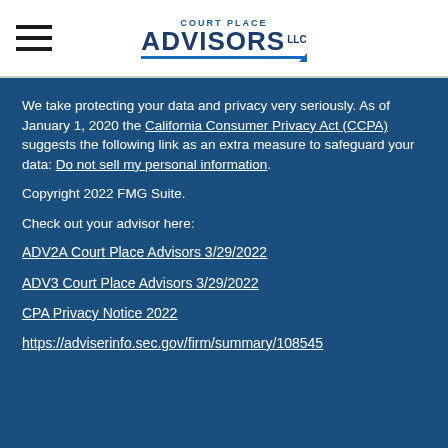[Figure (logo): Court Place Advisors LLC logo with hamburger menu icon on the left]
We take protecting your data and privacy very seriously. As of January 1, 2020 the California Consumer Privacy Act (CCPA) suggests the following link as an extra measure to safeguard your data: Do not sell my personal information.
Copyright 2022 FMG Suite.
Check out your advisor here:
ADV2A Court Place Advisors 3/29/2022
ADV3 Court Place Advisors 3/29/2022
CPA Privacy Notice 2022
https://adviserinfo.sec.gov/firm/summary/108545